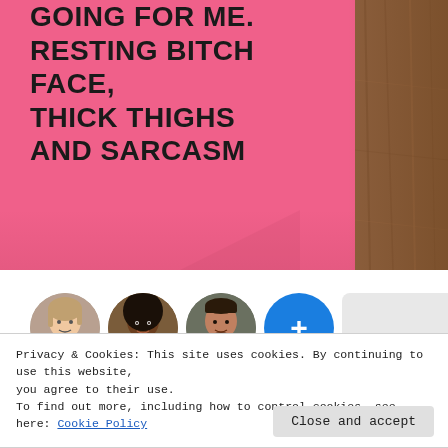[Figure (photo): Close-up photo of a bright pink t-shirt laid flat on a wooden surface. The shirt has bold black uppercase text printed on it reading: 'GOING FOR ME. RESTING BITCH FACE, THICK THIGHS AND SARCASM'. The shirt fabric has a fold at the bottom right corner.]
[Figure (infographic): Row of four circular avatar profile photos and one light gray rectangular placeholder. Three are photos of people: a woman with light skin, a woman with dark skin, and a man with medium skin. The fourth is a blue circle with a white plus sign (+). The fifth is a gray rounded rectangle.]
Privacy & Cookies: This site uses cookies. By continuing to use this website, you agree to their use.
To find out more, including how to control cookies, see here: Cookie Policy
Close and accept